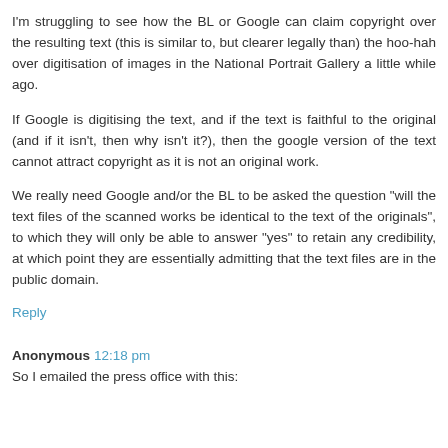I'm struggling to see how the BL or Google can claim copyright over the resulting text (this is similar to, but clearer legally than) the hoo-hah over digitisation of images in the National Portrait Gallery a little while ago.
If Google is digitising the text, and if the text is faithful to the original (and if it isn't, then why isn't it?), then the google version of the text cannot attract copyright as it is not an original work.
We really need Google and/or the BL to be asked the question "will the text files of the scanned works be identical to the text of the originals", to which they will only be able to answer "yes" to retain any credibility, at which point they are essentially admitting that the text files are in the public domain.
Reply
Anonymous 12:18 pm
So I emailed the press office with this: